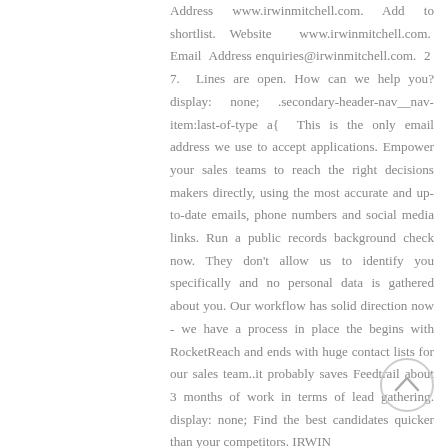Address www.irwinmitchell.com. Add to shortlist. Website www.irwinmitchell.com. Email Address enquiries@irwinmitchell.com. 2 7. Lines are open. How can we help you? display: none; .secondary-header-nav__nav-item:last-of-type a{ This is the only email address we use to accept applications. Empower your sales teams to reach the right decisions makers directly, using the most accurate and up-to-date emails, phone numbers and social media links. Run a public records background check now. They don't allow us to identify you specifically and no personal data is gathered about you. Our workflow has solid direction now - we have a process in place the begins with RocketReach and ends with huge contact lists for our sales team..it probably saves Feedtrail about 3 months of work in terms of lead gathering. display: none; Find the best candidates quicker than your competitors. IRWIN MITCHELL TRUST CORPORATION LIMITED